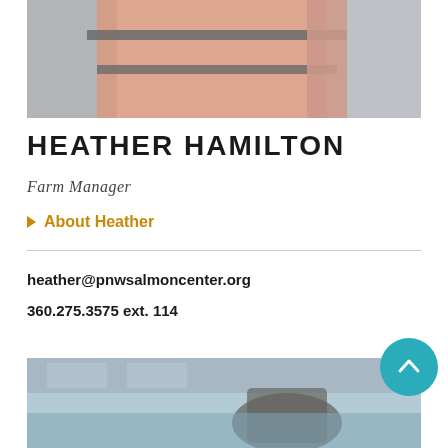[Figure (photo): Top portion of a person wearing an orange life vest / safety jacket with straps, outdoors near a body of water]
HEATHER HAMILTON
Farm Manager
▶ About Heather
heather@pnwsalmoncenter.org
360.275.3575 ext. 114
[Figure (photo): Bottom partial photo showing a person near water, appears to be a dock or fish hatchery setting]